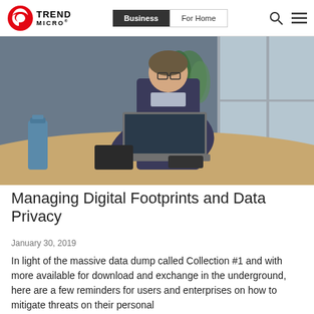Trend Micro | Business | For Home
[Figure (photo): Person in dark sweater sitting at a conference table working on a laptop, with a blue water bottle, plant, and large windows in the background]
Managing Digital Footprints and Data Privacy
January 30, 2019
In light of the massive data dump called Collection #1 and with more available for download and exchange in the underground, here are a few reminders for users and enterprises on how to mitigate threats on their personal